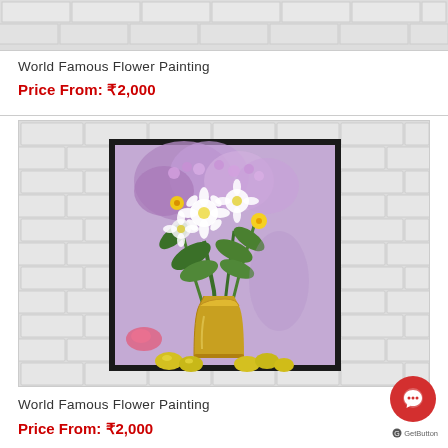[Figure (photo): Partial view of a flower painting product image on a brick-textured background (top crop)]
World Famous Flower Painting
Price From: ₹2,000
[Figure (photo): Flower painting in a black frame displayed on a white brick wall background — shows white and yellow flowers in a golden vase with purple background foliage]
World Famous Flower Painting
Price From: ₹2,000
[Figure (other): GetButton chat widget — red circular button with speech bubble icon, labeled GetButton]